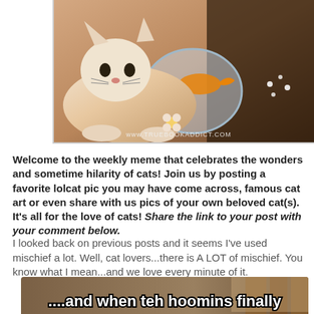[Figure (photo): Vintage illustration of a fluffy white cat with a fishbowl containing a goldfish, flowers. Watermark: www.truebookaddict.com]
Welcome to the weekly meme that celebrates the wonders and sometime hilarity of cats! Join us by posting a favorite lolcat pic you may have come across, famous cat art or even share with us pics of your own beloved cat(s). It's all for the love of cats! Share the link to your post with your comment below.
I looked back on previous posts and it seems I've used mischief a lot. Well, cat lovers...there is A LOT of mischief. You know what I mean...and we love every minute of it.
[Figure (photo): Lolcat meme image showing a cat with text: '....and when teh hoomins finally go to bed...']